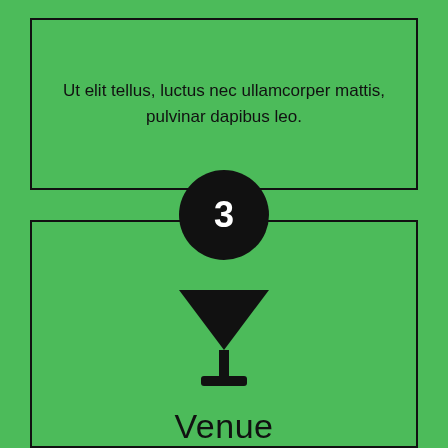Ut elit tellus, luctus nec ullamcorper mattis, pulvinar dapibus leo.
[Figure (infographic): Black circle with white number 3 inside, above a black martini/cocktail glass icon, with label 'Venue' below the icon]
Ut elit tellus, luctus nec ullamcorper mattis, pulvinar dapibus leo.